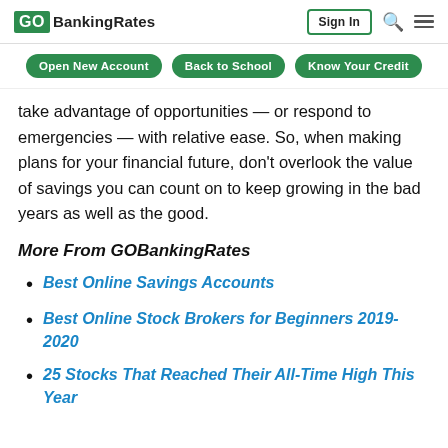GOBankingRates | Sign In
Open New Account | Back to School | Know Your Credit
take advantage of opportunities — or respond to emergencies — with relative ease. So, when making plans for your financial future, don't overlook the value of savings you can count on to keep growing in the bad years as well as the good.
More From GOBankingRates
Best Online Savings Accounts
Best Online Stock Brokers for Beginners 2019-2020
25 Stocks That Reached Their All-Time High This Year